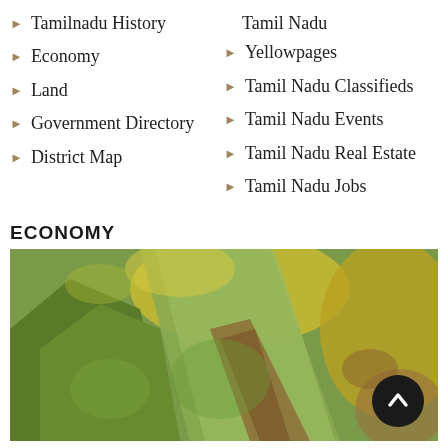Tamilnadu History
Economy
Land
Government Directory
District Map
Tamil Nadu Yellowpages
Tamil Nadu Classifieds
Tamil Nadu Events
Tamil Nadu Real Estate
Tamil Nadu Jobs
ECONOMY
[Figure (photo): Close-up photograph of green and yellow leaves, likely agricultural crops, relevant to the Economy section about Tamil Nadu agriculture.]